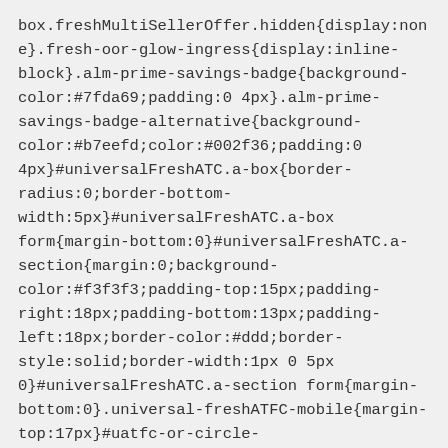box.freshMultiSellerOffer.hidden{display:none}.fresh-oor-glow-ingress{display:inline-block}.alm-prime-savings-badge{background-color:#7fda69;padding:0 4px}.alm-prime-savings-badge-alternative{background-color:#b7eefd;color:#002f36;padding:0 4px}#universalFreshATC.a-box{border-radius:0;border-bottom-width:5px}#universalFreshATC.a-box form{margin-bottom:0}#universalFreshATC.a-section{margin:0;background-color:#f3f3f3;padding-top:15px;padding-right:18px;padding-bottom:13px;padding-left:18px;border-color:#ddd;border-style:solid;border-width:1px 0 5px 0}#universalFreshATC.a-section form{margin-bottom:0}.universal-freshATFC-mobile{margin-top:17px}#uatfc-or-circle-container{height:30px;text-align:center;margin-top:-27px;margin-left:auto;margin-right:auto}#uatfc-or-circle{background:#777;min-width:30px;display:inline-block;height:100%;border-radius:30px;text-align:center;vertical-align:middle;line-height:30px;font-size:10px;margin-bottom:0;padding:0 5px}.uatfc-